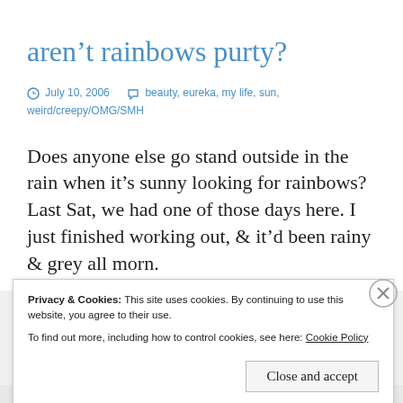aren't rainbows purty?
July 10, 2006   beauty, eureka, my life, sun, weird/creepy/OMG/SMH
Does anyone else go stand outside in the rain when it's sunny looking for rainbows? Last Sat, we had one of those days here. I just finished working out, & it'd been rainy & grey all morn.
Privacy & Cookies: This site uses cookies. By continuing to use this website, you agree to their use. To find out more, including how to control cookies, see here: Cookie Policy Close and accept